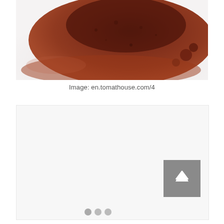[Figure (photo): A pile of dark reddish-brown powder (likely tomato powder or similar spice) on a white surface, photographed from above at an angle.]
Image: en.tomathouse.com/4
[Figure (screenshot): A mostly blank/white image placeholder or loading area with three pagination dots at the bottom and a back-to-top arrow button in the upper right corner.]